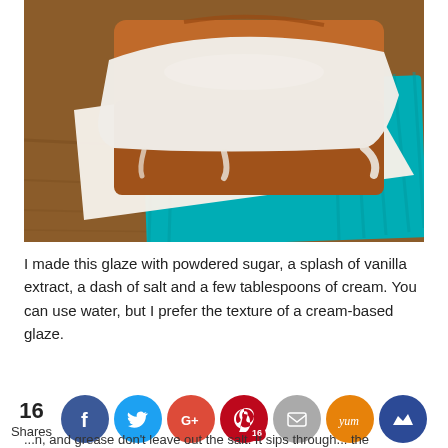[Figure (photo): Close-up photo of a glazed loaf cake with white cream glaze on top, sitting on white parchment paper on a teal/turquoise ribbed placemat on a wooden surface.]
I made this glaze with powdered sugar, a splash of vanilla extract, a dash of salt and a few tablespoons of cream. You can use water, but I prefer the texture of a cream-based glaze.
16 Shares [social sharing buttons: Facebook, Twitter, Google+, Pinterest (16), Email, Yummly, Flipboard]
...n, and grease don't leave out the salt. It sips through... the